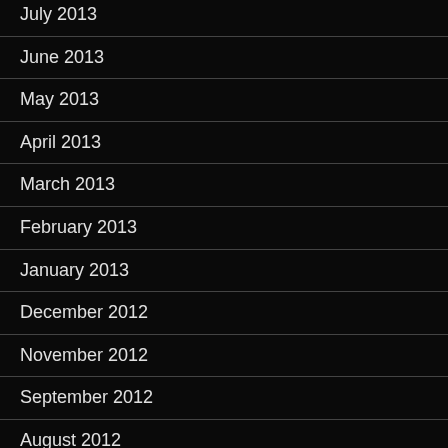July 2013
June 2013
May 2013
April 2013
March 2013
February 2013
January 2013
December 2012
November 2012
September 2012
August 2012
July 2012